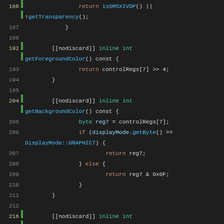[Figure (screenshot): C++ source code viewer showing lines 186-233 with syntax highlighting. Orange keywords (return, if, else), teal/cyan function names, green inline/int/bool keywords, white plain text, on dark background. Line numbers shown on left with green gutter bar for highlighted lines.]